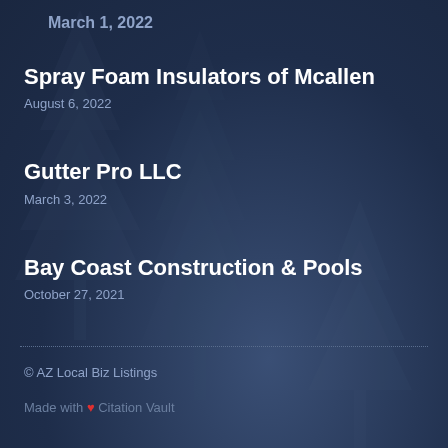March 1, 2022
Spray Foam Insulators of Mcallen
August 6, 2022
Gutter Pro LLC
March 3, 2022
Bay Coast Construction & Pools
October 27, 2021
© AZ Local Biz Listings
Made with ❤ Citation Vault